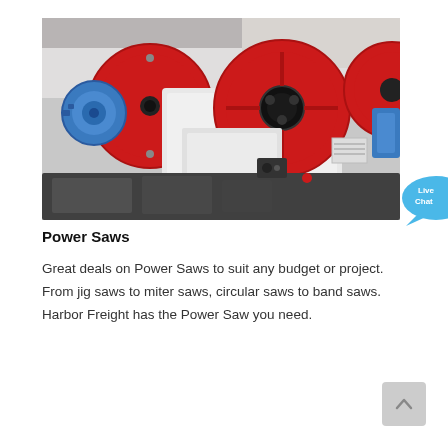[Figure (photo): Industrial power saw / jaw crusher machine with large red circular flywheels, white body, blue motor on the left, and dark gray base components, photographed in a factory setting.]
Power Saws
Great deals on Power Saws to suit any budget or project. From jig saws to miter saws, circular saws to band saws. Harbor Freight has the Power Saw you need.